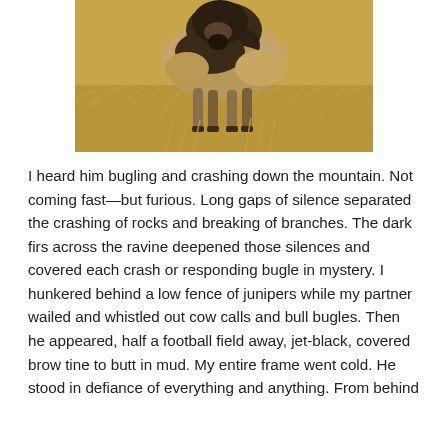[Figure (photo): A bison standing in dry golden grassland, viewed from the front-left, with dark fur on its head and lighter tan/brown body fur. The background shows dry tall grass in warm golden tones.]
I heard him bugling and crashing down the mountain. Not coming fast—but furious. Long gaps of silence separated the crashing of rocks and breaking of branches. The dark firs across the ravine deepened those silences and covered each crash or responding bugle in mystery. I hunkered behind a low fence of junipers while my partner wailed and whistled out cow calls and bull bugles. Then he appeared, half a football field away, jet-black, covered brow tine to butt in mud. My entire frame went cold. He stood in defiance of everything and anything. From behind